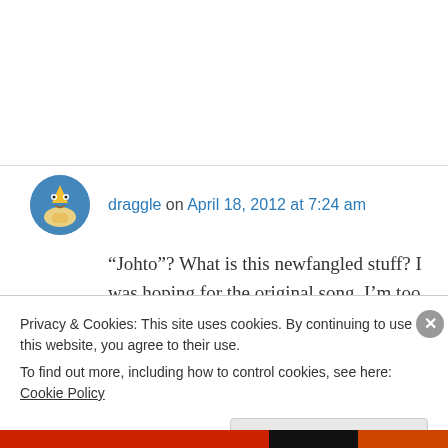draggle on April 18, 2012 at 7:24 am
“Johto”? What is this newfangled stuff? I was hoping for the original song, I’m too old to get these references. 😕
Also you should sing it anyway, it will be glorious!
Privacy & Cookies: This site uses cookies. By continuing to use this website, you agree to their use.
To find out more, including how to control cookies, see here: Cookie Policy